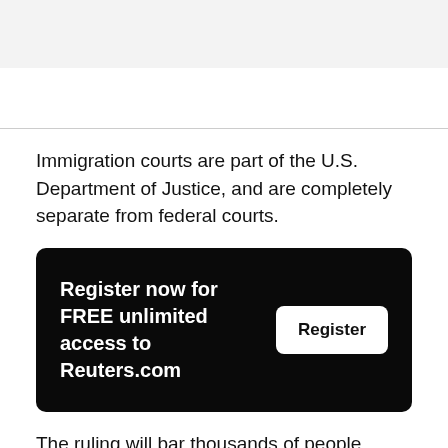Immigration courts are part of the U.S. Department of Justice, and are completely separate from federal courts.
Register now for FREE unlimited access to Reuters.com
The ruling will bar thousands of people whose ap [Feedback] for green cards and other legal